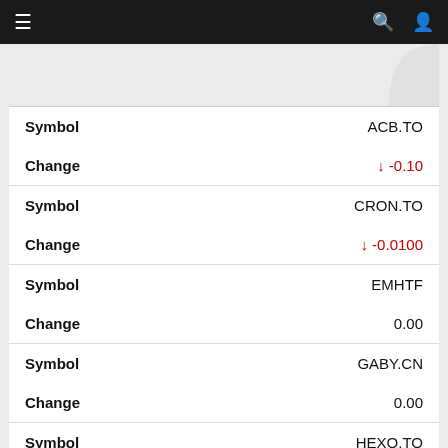Navigation bar with menu, search, and user icons
| Field | Value |
| --- | --- |
| Symbol | ACB.TO |
| Change | ↓ -0.10 |
| Symbol | CRON.TO |
| Change | ↓ -0.0100 |
| Symbol | EMHTF |
| Change | 0.00 |
| Symbol | GABY.CN |
| Change | 0.00 |
| Symbol | HEXO.TO |